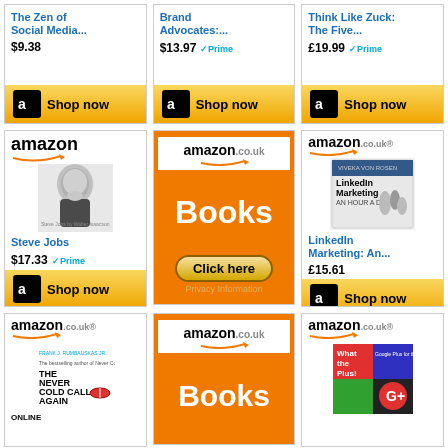[Figure (screenshot): Amazon product grid showing book advertisements. Row 1 (partial): 'The Zen of Social Media...' at $9.38, 'Brand Advocates:...' at $13.97 with Prime, 'Think Like Zuck: The Five...' at £19.99 with Prime. Row 2: Steve Jobs book at $17.33 with Prime (amazon.com), Amazon.co.uk Books orange ad with Click here button, LinkedIn Marketing: An... at £15.61. Row 3 (partial): The Never Cold Call Again Online book, Amazon.co.uk Books orange ad, What the Plus! book.]